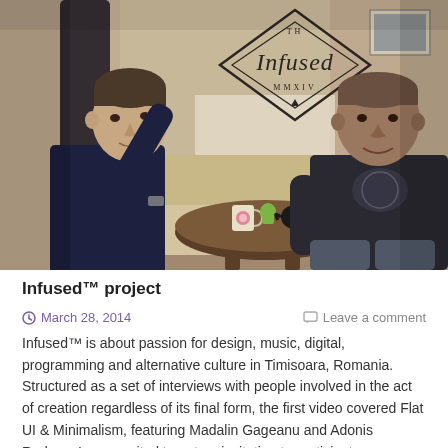[Figure (photo): Two men sitting in a casual indoor setting. A logo reading 'Infused MMXIV' is visible on the wall behind them. A small round table with a mug, teapot, and books sits between them. The man on the left wears a dark navy sweater, the man on the right wears a dark graphic t-shirt. The lighting is warm and indoor.]
Infused™ project
March 28, 2014   Leave a comment
Infused™ is about passion for design, music, digital, programming and alternative culture in Timisoara, Romania. Structured as a set of interviews with people involved in the act of creation regardless of its final form, the first video covered Flat UI & Minimalism, featuring Madalin Gageanu and Adonis Raduca; I was excited to get an invitation to participate